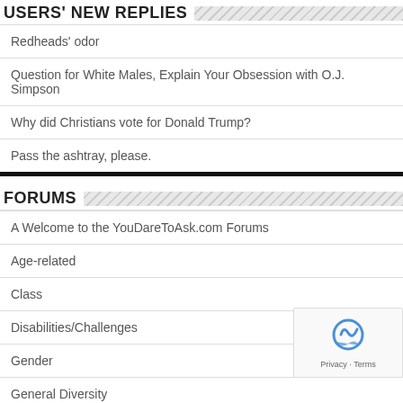USERS' NEW REPLIES
Redheads' odor
Question for White Males, Explain Your Obsession with O.J. Simpson
Why did Christians vote for Donald Trump?
Pass the ashtray, please.
FORUMS
A Welcome to the YouDareToAsk.com Forums
Age-related
Class
Disabilities/Challenges
Gender
General Diversity
Geography